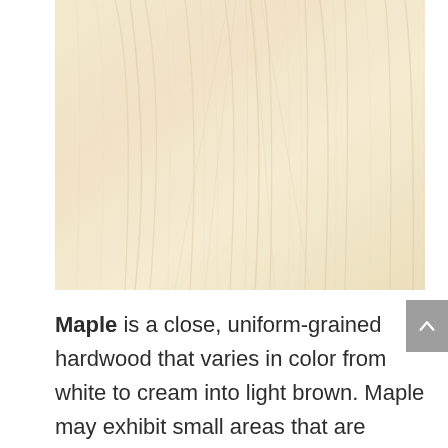[Figure (photo): Close-up photograph of maple wood grain showing pale cream-to-white coloring with subtle grain lines and natural wood texture.]
Maple is a close, uniform-grained hardwood that varies in color from white to cream into light brown. Maple may exhibit small areas that are reminiscent of bird's eyes, curly grain, and